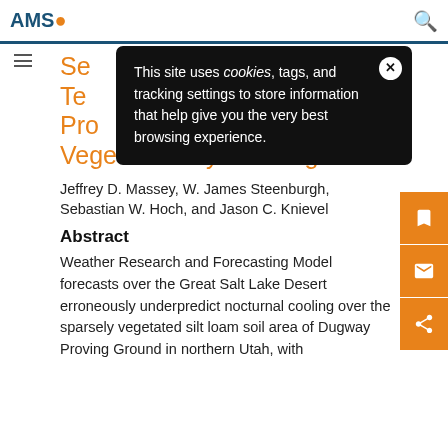AMS — American Meteorological Society
[Figure (screenshot): Cookie consent popup overlay on AMS journal page: black rounded rectangle popup reading 'This site uses cookies, tags, and tracking settings to store information that help give you the very best browsing experience.' with an X close button.]
Se[arch] Te[mperature] Pro[files in a?] Vegetated Dryland Region
Jeffrey D. Massey, W. James Steenburgh, Sebastian W. Hoch, and Jason C. Knievel
Abstract
Weather Research and Forecasting Model forecasts over the Great Salt Lake Desert erroneously underpredict nocturnal cooling over the sparsely vegetated silt loam soil area of Dugway Proving Ground in northern Utah, with